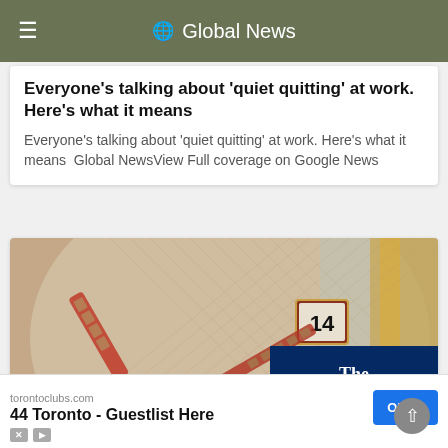Global News
Everyone's talking about 'quiet quitting' at work. Here's what it means
Everyone's talking about 'quiet quitting' at work. Here's what it means  Global NewsView Full coverage on Google News
[Figure (photo): Close-up macro photograph of a luxury rose-gold watch face showing the number 14 on the date window, with ornate honeycomb-patterned hands, and The Guardian advertisement overlay in the bottom right corner]
torontoclubs.com
44 Toronto - Guestlist Here